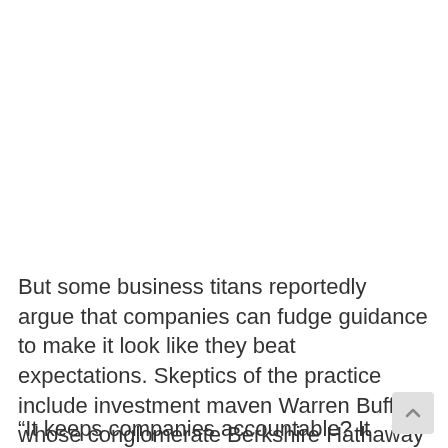But some business titans reportedly argue that companies can fudge guidance to make it look like they beat expectations. Skeptics of the practice include investment maven Warren Buffett, whose conglomerate Berkshire Hathaway does not issue guidance.
“It keeps companies accountable? It keeps companies doing